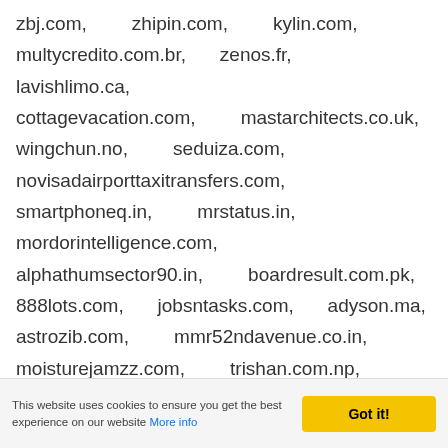zbj.com, zhipin.com, kylin.com, multycredito.com.br, zenos.fr, lavishlimo.ca, cottagevacation.com, mastarchitects.co.uk, wingchun.no, seduiza.com, novisadairporttaxitransfers.com, smartphoneq.in, mrstatus.in, mordorintelligence.com, alphathumsector90.in, boardresult.com.pk, 888lots.com, jobsntasks.com, adyson.ma, astrozib.com, mmr52ndavenue.co.in, moisturejamzz.com, trishan.com.np, maximummedicalinc.com, aceelectronic.ca, broker.carefirst.com, shiatsu44.wordpress.com, lesalon.com,
This website uses cookies to ensure you get the best experience on our website More info | Got it!